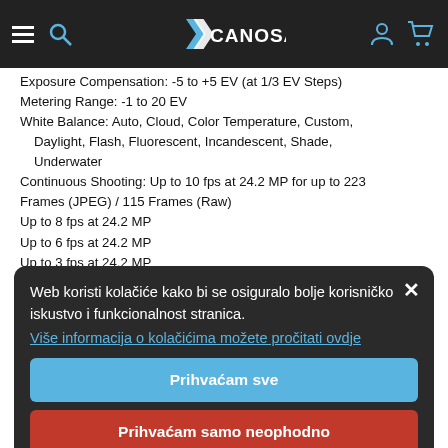Canosa navigation bar with hamburger menu, search icon, Canosa logo, user icon, cart icon
Exposure Compensation: -5 to +5 EV (at 1/3 EV Steps)
Metering Range: -1 to 20 EV
White Balance: Auto, Cloud, Color Temperature, Custom, Daylight, Flash, Fluorescent, Incandescent, Shade, Underwater
Continuous Shooting: Up to 10 fps at 24.2 MP for up to 223 Frames (JPEG) / 115 Frames (Raw)
Up to 8 fps at 24.2 MP
Up to 6 fps at 24.2 MP
Up to 3 fps at 24.2 MP
Interval Recording: Yes
Self-Timer: 2/5/10-Second Delay
Internal Recording Modes 4:2:0 8-Bit
UHD 4K (3840 x 2160) at [up to 100 Mb/s]
Full HD (1920 x 1080) at
23.976p/25p/29.97p/50p/59.94p/100p/119.88p [16 to 100 Mb/s]
External Recording Modes 4:2:2 8-Bit
UHD 4K (3840 x 2160) at 23.976p/25p/29.97p
Full HD (1920 x 1080) at 23.976p (50)/(50p/59.94)/59.94p
Web koristi kolačiće kako bi se osiguralo bolje korisničko iskustvo i funkcionalnost stranica.
Više informacija o kolačićima možete pročitati ovdje
Prihvaćam sve
Prihvaćam samo neophodno